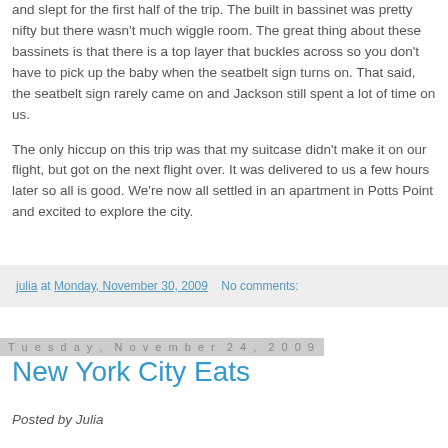and slept for the first half of the trip. The built in bassinet was pretty nifty but there wasn't much wiggle room. The great thing about these bassinets is that there is a top layer that buckles across so you don't have to pick up the baby when the seatbelt sign turns on. That said, the seatbelt sign rarely came on and Jackson still spent a lot of time on us.
The only hiccup on this trip was that my suitcase didn't make it on our flight, but got on the next flight over. It was delivered to us a few hours later so all is good. We're now all settled in an apartment in Potts Point and excited to explore the city.
julia at Monday, November 30, 2009   No comments:
Tuesday, November 24, 2009
New York City Eats
Posted by Julia